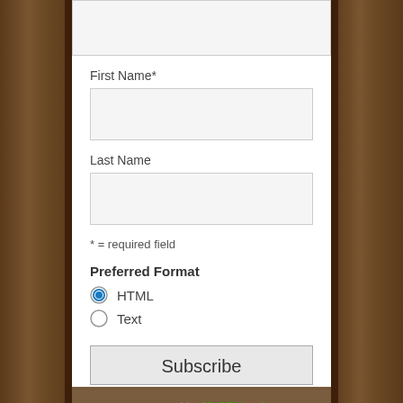[Figure (screenshot): Web form with wood-panel background. Shows a partial form with a top input box (cropped), First Name field with input box, Last Name field with input box, required field note, Preferred Format section with HTML (selected) and Text radio buttons, Subscribe button, and powered by MailChimp! footer.]
First Name*
Last Name
* = required field
Preferred Format
HTML
Text
Subscribe
powered by MailChimp!